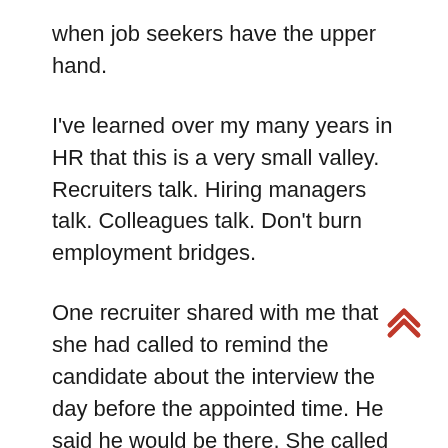when job seekers have the upper hand.
I've learned over my many years in HR that this is a very small valley. Recruiters talk. Hiring managers talk. Colleagues talk. Don't burn employment bridges.
One recruiter shared with me that she had called to remind the candidate about the interview the day before the appointed time. He said he would be there. She called again two hours before the